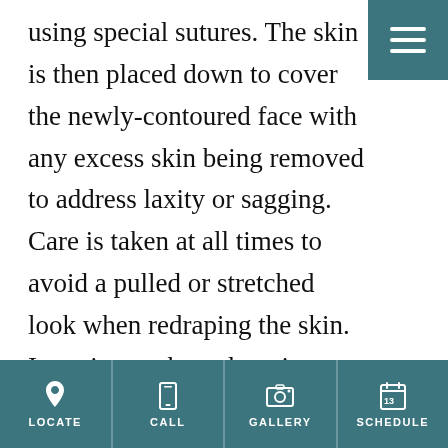using special sutures. The skin is then placed down to cover the newly-contoured face with any excess skin being removed to address laxity or sagging. Care is taken at all times to avoid a pulled or stretched look when redraping the skin. In patients where there is separation of the neck musculature or excess fat under the chin, a tiny incision can be made in the crease just under the chin to address these issues. The incisions are then closed with small sutures. As Dr. Shaddix performs your facelift, the goal of providing a completely
LOCATE | CALL | GALLERY | SCHEDULE